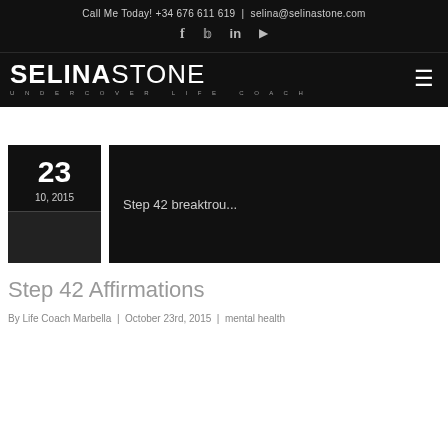Call Me Today! +34 676 611 619 | selina@selinastone.com
[Figure (logo): SELINASTONE Undercover Life Coach logo with social icons (f, twitter bird, in, play button) and hamburger menu]
[Figure (other): Date card showing '23 / 10, 2015' in black background alongside a blog post preview card showing 'Step 42 breaktrou...' text on dark background]
Step 42 Affirmations
By Life Coach Marbella | October 23rd, 2015 | mental health